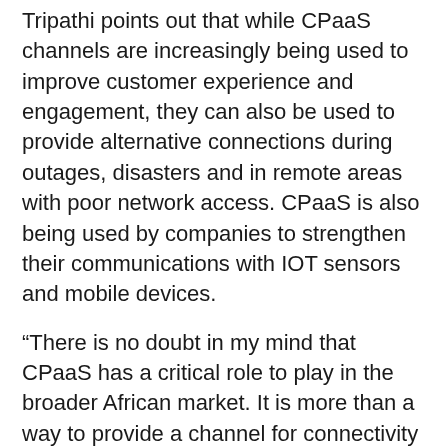Tripathi points out that while CPaaS channels are increasingly being used to improve customer experience and engagement, they can also be used to provide alternative connections during outages, disasters and in remote areas with poor network access. CPaaS is also being used by companies to strengthen their communications with IOT sensors and mobile devices.
“There is no doubt in my mind that CPaaS has a critical role to play in the broader African market. It is more than a way to provide a channel for connectivity and engagement to drive commerce. It can also be used to make a difference, a real difference, to people across the continent by providing support to the agencies that do so much good for the people of the continent,” Tripathi concludes.